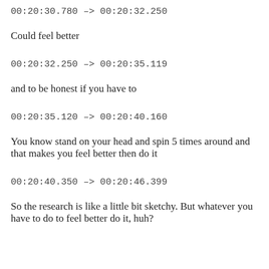00:20:30.780 --> 00:20:32.250
Could feel better
00:20:32.250 --> 00:20:35.119
and to be honest if you have to
00:20:35.120 --> 00:20:40.160
You know stand on your head and spin 5 times around and that makes you feel better then do it
00:20:40.350 --> 00:20:46.399
So the research is like a little bit sketchy. But whatever you have to do to feel better do it, huh?